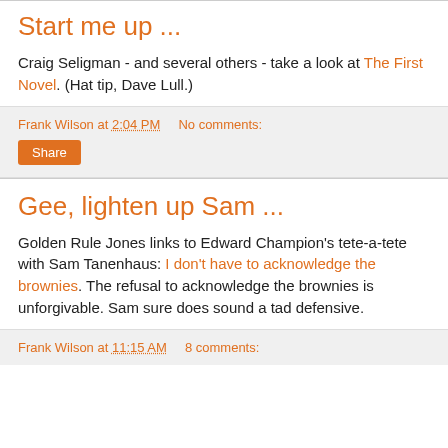Start me up ...
Craig Seligman - and several others - take a look at The First Novel. (Hat tip, Dave Lull.)
Frank Wilson at 2:04 PM   No comments:
Share
Gee, lighten up Sam ...
Golden Rule Jones links to Edward Champion's tete-a-tete with Sam Tanenhaus: I don't have to acknowledge the brownies. The refusal to acknowledge the brownies is unforgivable. Sam sure does sound a tad defensive.
Frank Wilson at 11:15 AM   8 comments: